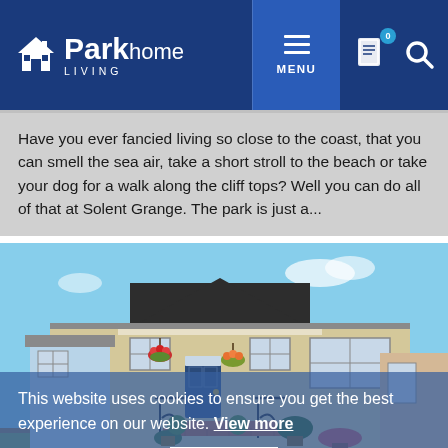Park home LIVING — MENU navigation header
Have you ever fancied living so close to the coast, that you can smell the sea air, take a short stroll to the beach or take your dog for a walk along the cliff tops? Well you can do all of that at Solent Grange. The park is just a...
[Figure (photo): Exterior photo of a park home / mobile home with light blue/cream siding, a dark pitched roof, hanging flower baskets, decorative iron railings, brick steps, and potted plants. A cookie consent overlay is visible over the lower portion of the image with text 'This website uses cookies to ensure you get the best experience on our website. View more' and a 'Got It!' button.]